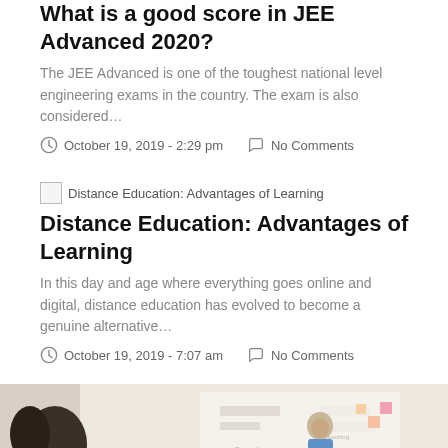What is a good score in JEE Advanced 2020?
The JEE Advanced is one of the toughest national level engineering exams in the country. The exam is also considered…
October 19, 2019 - 2:29 pm   No Comments
[Figure (other): Thumbnail image placeholder for Distance Education: Advantages of Learning article]
Distance Education: Advantages of Learning
In this day and age where everything goes online and digital, distance education has evolved to become a genuine alternative…
October 19, 2019 - 7:07 am   No Comments
[Figure (photo): Photo of a man presenting or teaching in a classroom/workshop setting, with other people visible]